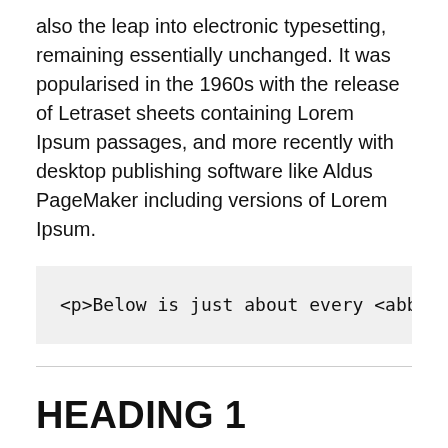also the leap into electronic typesetting, remaining essentially unchanged. It was popularised in the 1960s with the release of Letraset sheets containing Lorem Ipsum passages, and more recently with desktop publishing software like Aldus PageMaker including versions of Lorem Ipsum.
HEADING 1
HEADING 2